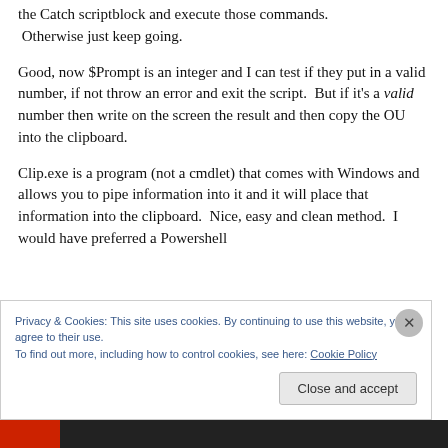the Catch scriptblock and execute those commands. Otherwise just keep going.
Good, now $Prompt is an integer and I can test if they put in a valid number, if not throw an error and exit the script. But if it's a valid number then write on the screen the result and then copy the OU into the clipboard.
Clip.exe is a program (not a cmdlet) that comes with Windows and allows you to pipe information into it and it will place that information into the clipboard. Nice, easy and clean method. I would have preferred a Powershell
Privacy & Cookies: This site uses cookies. By continuing to use this website, you agree to their use.
To find out more, including how to control cookies, see here: Cookie Policy